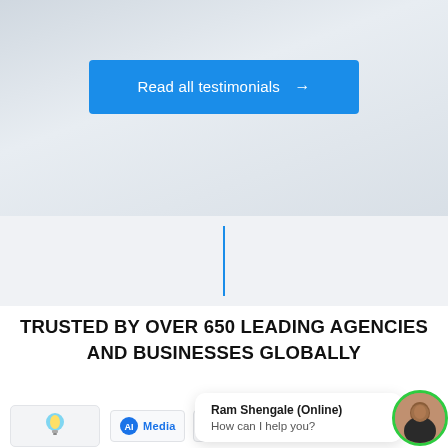[Figure (screenshot): Light grey background with subtle cloud texture forming the top section of a webpage]
Read all testimonials →
[Figure (illustration): A vertical blue divider line separating two sections of the webpage]
TRUSTED BY OVER 650 LEADING AGENCIES AND BUSINESSES GLOBALLY
[Figure (screenshot): Chat widget popup with text 'Ram Shengale (Online)' and 'How can I help you?' with a circular avatar photo of a man]
[Figure (logo): Partial logos of media/business clients visible at the bottom: one with blue circular icon and text starting with 'Media', another with green/yellow icon and text 'ALTDURL' or similar]
[Figure (illustration): Small illustrated icon of a lightbulb/idea graphic visible at bottom left]